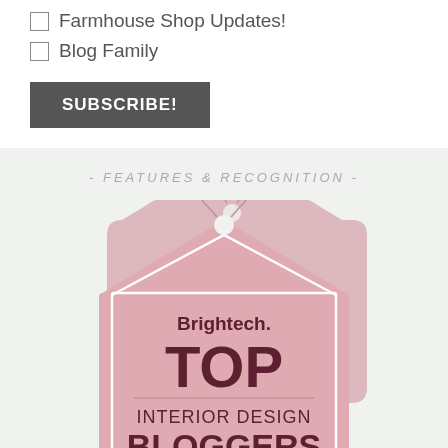Farmhouse Shop Updates!
Blog Family
SUBSCRIBE!
- FEATURES & RECOGNITION -
[Figure (logo): Brightech Top Interior Design Bloggers badge — a house-shaped pink badge with text: Brightech., TOP, INTERIOR DESIGN, BLOGGERS]